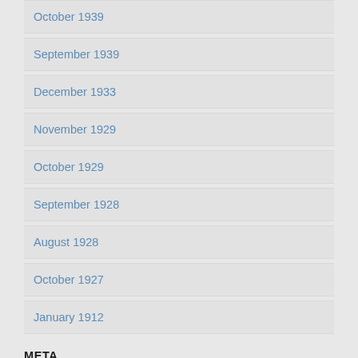October 1939
September 1939
December 1933
November 1929
October 1929
September 1928
August 1928
October 1927
January 1912
META
Log in